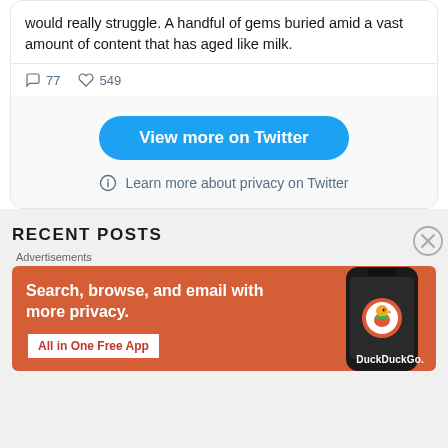would really struggle. A handful of gems buried amid a vast amount of content that has aged like milk.
77  549
[Figure (screenshot): View more on Twitter button and Learn more about privacy on Twitter link inside a Twitter embed widget]
RECENT POSTS
Advertisements
[Figure (illustration): DuckDuckGo advertisement banner: Search, browse, and email with more privacy. All in One Free App. Shows a phone with DuckDuckGo logo.]